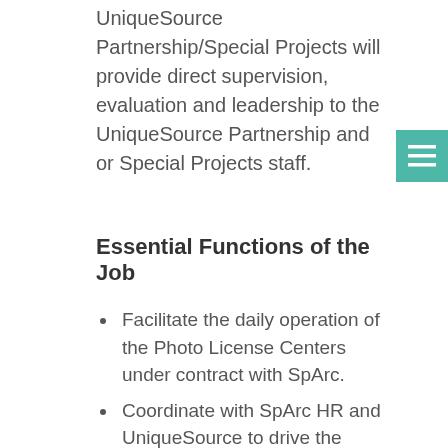UniqueSource Partnership/Special Projects will provide direct supervision, evaluation and leadership to the UniqueSource Partnership and or Special Projects staff.
Essential Functions of the Job
Facilitate the daily operation of the Photo License Centers under contract with SpArc.
Coordinate with SpArc HR and UniqueSource to drive the recruitment process and training & development of staff. Recruit and select an adequate number of photo license technicians in accordance with the UniqueSource 11.0 hiring procedures.